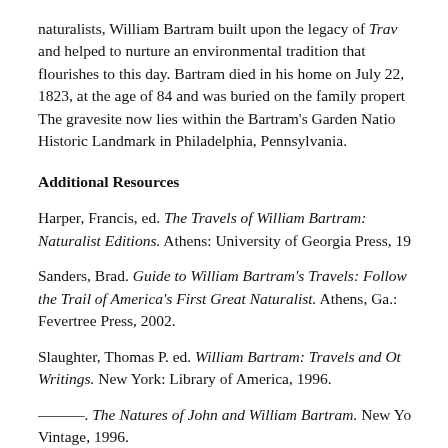naturalists, William Bartram built upon the legacy of Trav and helped to nurture an environmental tradition that flourishes to this day. Bartram died in his home on July 22, 1823, at the age of 84 and was buried on the family property. The gravesite now lies within the Bartram's Garden National Historic Landmark in Philadelphia, Pennsylvania.
Additional Resources
Harper, Francis, ed. The Travels of William Bartram: Naturalist Editions. Athens: University of Georgia Press, 19...
Sanders, Brad. Guide to William Bartram's Travels: Following the Trail of America's First Great Naturalist. Athens, Ga.: Fevertree Press, 2002.
Slaughter, Thomas P. ed. William Bartram: Travels and Other Writings. New York: Library of America, 1996.
———. The Natures of John and William Bartram. New York: Vintage, 1996.
Wasollou, Gregory A., and Kathrun F. Holland Braund...